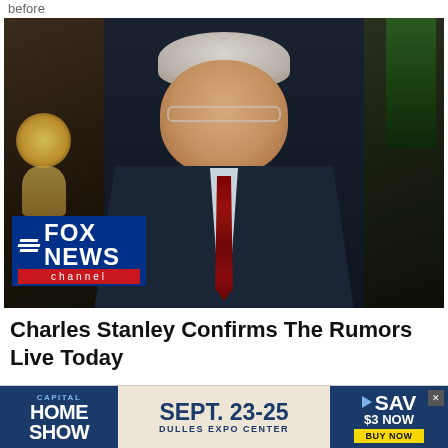before
[Figure (photo): Older man in dark suit and red tie appearing on Fox News channel. Fox News Channel logo visible in lower left corner.]
Charles Stanley Confirms The Rumors Live Today
Ads by ad·style
[Figure (screenshot): Banner advertisement for Capital Home Show, Sept. 23-25, Dulles Expo Center. Save $3 now, Buy Now button.]